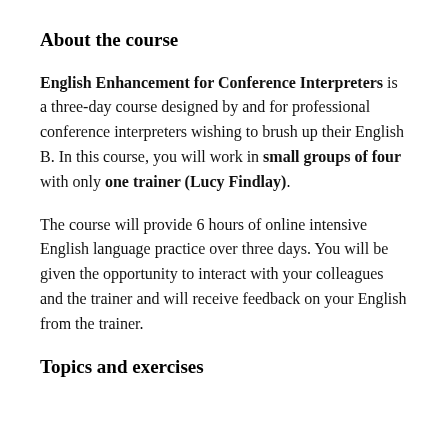About the course
English Enhancement for Conference Interpreters is a three-day course designed by and for professional conference interpreters wishing to brush up their English B. In this course, you will work in small groups of four with only one trainer (Lucy Findlay).
The course will provide 6 hours of online intensive English language practice over three days. You will be given the opportunity to interact with your colleagues and the trainer and will receive feedback on your English from the trainer.
Topics and exercises